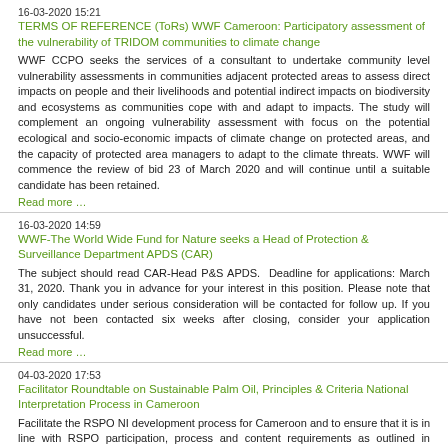16-03-2020 15:21
TERMS OF REFERENCE (ToRs) WWF Cameroon: Participatory assessment of the vulnerability of TRIDOM communities to climate change
WWF CCPO seeks the services of a consultant to undertake community level vulnerability assessments in communities adjacent protected areas to assess direct impacts on people and their livelihoods and potential indirect impacts on biodiversity and ecosystems as communities cope with and adapt to impacts. The study will complement an ongoing vulnerability assessment with focus on the potential ecological and socio-economic impacts of climate change on protected areas, and the capacity of protected area managers to adapt to the climate threats. WWF will commence the review of bid 23 of March 2020 and will continue until a suitable candidate has been retained.
Read more …
16-03-2020 14:59
WWF-The World Wide Fund for Nature seeks a Head of Protection & Surveillance Department APDS (CAR)
The subject should read CAR-Head P&S APDS.  Deadline for applications: March 31, 2020. Thank you in advance for your interest in this position. Please note that only candidates under serious consideration will be contacted for follow up. If you have not been contacted six weeks after closing, consider your application unsuccessful.
Read more …
04-03-2020 17:53
Facilitator Roundtable on Sustainable Palm Oil, Principles & Criteria National Interpretation Process in Cameroon
Facilitate the RSPO NI development process for Cameroon and to ensure that it is in line with RSPO participation, process and content requirements as outlined in section 9 of the RSPO Standard Operating Procedure (SOP) for Standard Setting (2017), in close collaboration with WWF Cameroon. Deadline